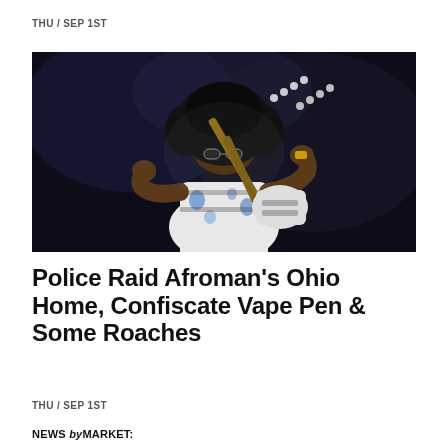THU / SEP 1ST
[Figure (photo): A man with a large afro hairstyle wearing a white floral shirt, playing a double-neck electric guitar on a dark stage background.]
Police Raid Afroman's Ohio Home, Confiscate Vape Pen & Some Roaches
THU / SEP 1ST
NEWS byMARKET: